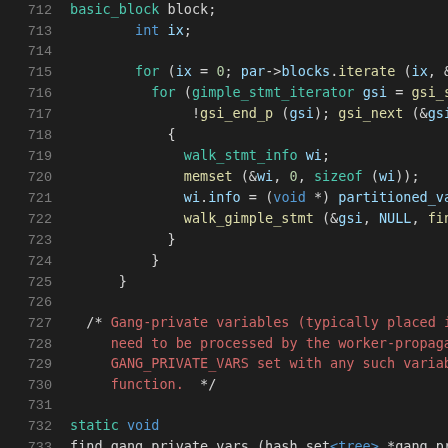[Figure (screenshot): Source code listing showing C/C++ code with syntax highlighting on dark background, lines 712-733. Features variable declarations, for loops, memset/walk function calls, a comment block about gang-private variables, and a static void function declaration.]